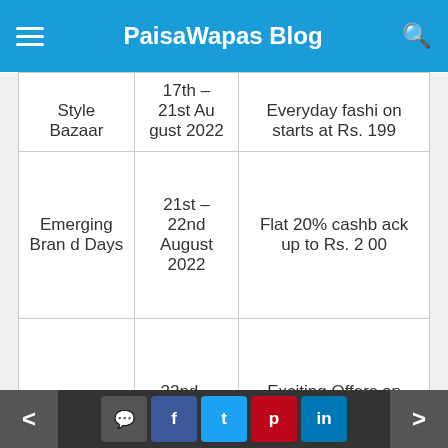PaisaWapas Blog
| Sale Name | Date | Offer |
| --- | --- | --- |
| Style Bazaar | 17th – 21st August 2022 | Everyday fashion starts at Rs. 199 |
| Emerging Brand Days | 21st – 22nd August 2022 | Flat 20% cashback up to Rs. 200 |
| Power Bank Days | 22nd – 24th August 2022 | Exciting Offers on Trending Xiaomi, Philips, Ambrane Power Banks |
< comment facebook twitter pinterest linkedin >